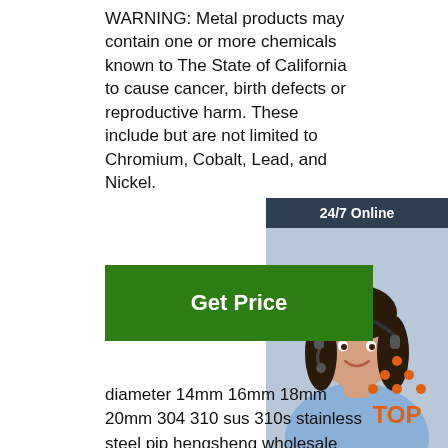WARNING: Metal products may contain one or more chemicals known to The State of California to cause cancer, birth defects or reproductive harm. These include but are not limited to Chromium, Cobalt, Lead, and Nickel.
[Figure (photo): Customer service agent (woman with headset) with '24/7 Online' banner, 'Click here for free chat!' text, and orange QUOTATION button]
Get Price
diameter 14mm 16mm 18mm 20mm 304 310 sus 310s stainless steel pip hengsheng wholesale 1inch barbell clip exercise collars barbell clamps weight bar
hot dipped 23mm galvanized welded carbon sch40 sa 179 a355 seamless steel bulk sale
[Figure (logo): Orange TOP arrow/triangle logo with 'TOP' text]